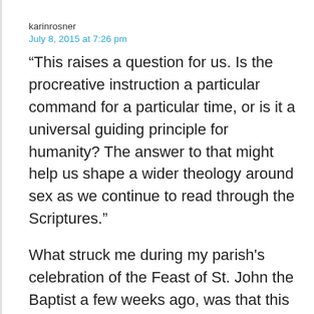karinrosner
July 8, 2015 at 7:26 pm
“This raises a question for us. Is the procreative instruction a particular command for a particular time, or is it a universal guiding principle for humanity? The answer to that might help us shape a wider theology around sex as we continue to read through the Scriptures.”
What struck me during my parish's celebration of the Feast of St. John the Baptist a few weeks ago, was that this procreative instruction really _does_ apply to _every_ Christian marriage, whether or not a couple can conceive and bear fruit, or not. Sarah and Abraham could not conceive without God’s action and were advanced in age– a